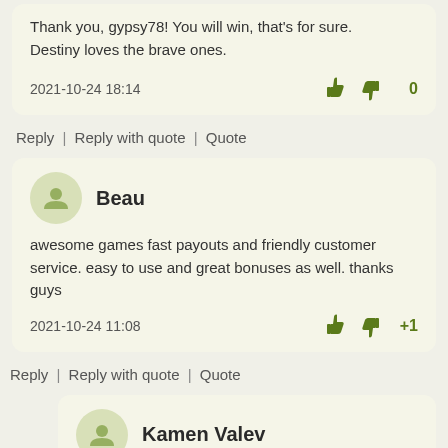Thank you, gypsy78! You will win, that's for sure. Destiny loves the brave ones.
2021-10-24 18:14   👍 👎 0
Reply | Reply with quote | Quote
Beau
awesome games fast payouts and friendly customer service. easy to use and great bonuses as well. thanks guys
2021-10-24 11:08   👍 👎 +1
Reply | Reply with quote | Quote
Kamen Valev